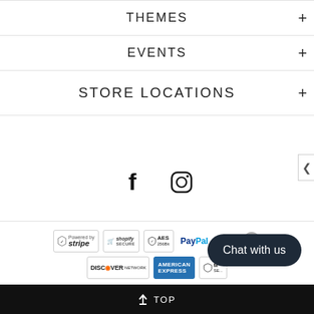THEMES
EVENTS
STORE LOCATIONS
[Figure (illustration): Social media icons: Facebook (f) and Instagram (camera/circle icon)]
[Figure (illustration): Payment badges row: Powered by Stripe, Shopify Secure, AES 256Bit, PayPal, VISA, Mastercard, Discover Network, American Express, and another badge partially visible]
[Figure (illustration): Chat with us button (dark rounded pill shape)]
↑ TOP